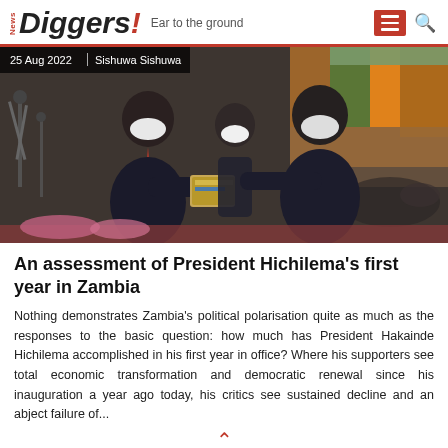News Diggers! | Ear to the ground
[Figure (photo): President Hakainde Hichilema in a dark suit and red tie, wearing a face mask, receiving or exchanging documents with another man in a dark suit at an official ceremony. A third official stands behind them. Colorful banners visible in the background.]
25 Aug 2022 | Sishuwa Sishuwa
An assessment of President Hichilema's first year in Zambia
Nothing demonstrates Zambia's political polarisation quite as much as the responses to the basic question: how much has President Hakainde Hichilema accomplished in his first year in office? Where his supporters see total economic transformation and democratic renewal since his inauguration a year ago today, his critics see sustained decline and an abject failure of...